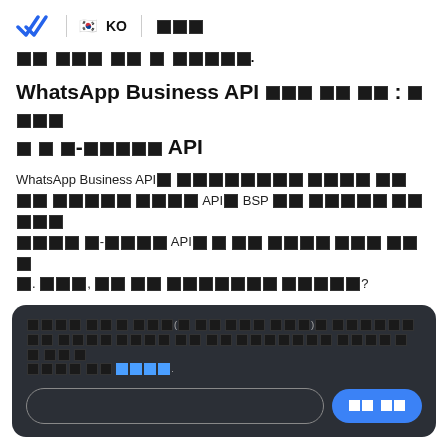KO | □□□
□□ □□□ □□ □ □□□□.
WhatsApp Business API □□□ □□ □□ : □□□□ □ □ □-□□□□□ API
WhatsApp Business API□ □□□□□□□□ □□□□ □□ □□ □□□□□ □□□□ API□ BSP □□ □□□□□ □□□□ □□□□ □-□□□□ API□ □ □□ □□□□ □□□□ □□□. □□□, □□ □□ □□□□□□□ □□□□□?
□□□□ □□ □ □□□(□ □□ □□□□ □□□)□ □□□□□□□ □□ □□□□□ □□□□ □□□□ □□ □□ □□□□□□ □□□□□□□ □□ □ □□□□ □□□ □□□.
Cloud API□□□□ □□□□□ □□□□ □□□□ □□□□□□□ □□□□□□ □□□□□□ □